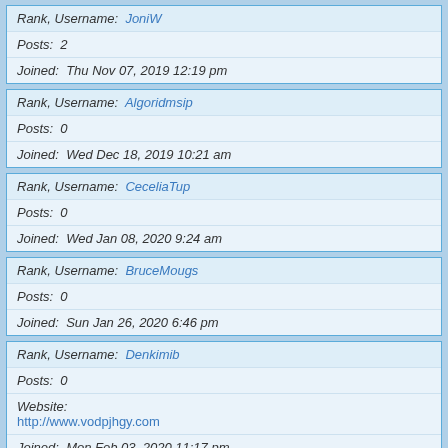Rank, Username: JoniW | Posts: 2 | Joined: Thu Nov 07, 2019 12:19 pm
Rank, Username: Algoridmsip | Posts: 0 | Joined: Wed Dec 18, 2019 10:21 am
Rank, Username: CeceliaTup | Posts: 0 | Joined: Wed Jan 08, 2020 9:24 am
Rank, Username: BruceMougs | Posts: 0 | Joined: Sun Jan 26, 2020 6:46 pm
Rank, Username: Denkimib | Posts: 0 | Website: http://www.vodpjhgy.com | Joined: Mon Feb 03, 2020 11:17 pm
Rank, Username: Rapstage | Posts: 0